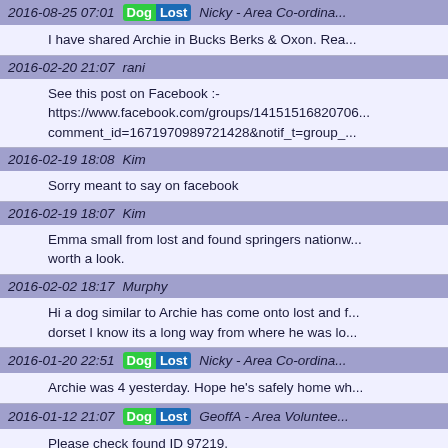2016-08-25 07:01  DogLost  Nicky - Area Co-ordina...  I have shared Archie in Bucks Berks & Oxon. Rea...
2016-02-20 21:07  rani  See this post on Facebook :- https://www.facebook.com/groups/14151516820... comment_id=1671970989721428&notif_t=group_...
2016-02-19 18:08  Kim  Sorry meant to say on facebook
2016-02-19 18:07  Kim  Emma small from lost and found springers nationw... worth a look.
2016-02-02 18:17  Murphy  Hi a dog similar to Archie has come onto lost and ... dorset I know its a long way from where he was lo...
2016-01-20 22:51  DogLost  Nicky - Area Co-ordina...  Archie was 4 yesterday. Hope he's safely home wh...
2016-01-12 21:07  DogLost  GeoffA - Area Voluntee...  Please check found ID 97219.
2015-12-25 19:55  charlie and sooty